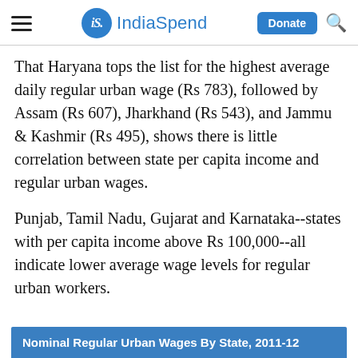IndiaSpend
That Haryana tops the list for the highest average daily regular urban wage (Rs 783), followed by Assam (Rs 607), Jharkhand (Rs 543), and Jammu & Kashmir (Rs 495), shows there is little correlation between state per capita income and regular urban wages.
Punjab, Tamil Nadu, Gujarat and Karnataka--states with per capita income above Rs 100,000--all indicate lower average wage levels for regular urban workers.
Nominal Regular Urban Wages By State, 2011-12